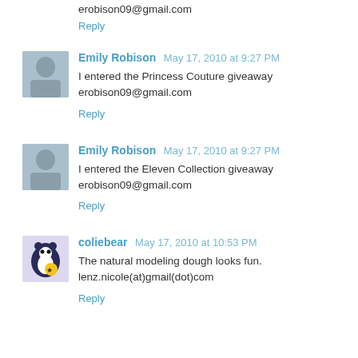erobison09@gmail.com
Reply
Emily Robison  May 17, 2010 at 9:27 PM
I entered the Princess Couture giveaway erobison09@gmail.com
Reply
Emily Robison  May 17, 2010 at 9:27 PM
I entered the Eleven Collection giveaway erobison09@gmail.com
Reply
coliebear  May 17, 2010 at 10:53 PM
The natural modeling dough looks fun. lenz.nicole(at)gmail(dot)com
Reply